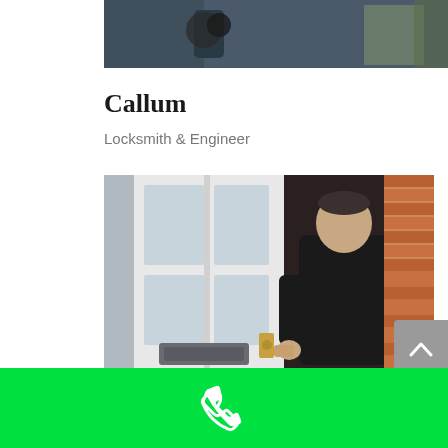[Figure (photo): Partial view of a photo at the top of the page, showing a blurred outdoor scene with dark elements.]
Callum
Locksmith & Engineer
[Figure (photo): A man dressed in all black working on a door lock, standing in a doorway. The door is white with glass panels, and there is red brick visible on the right side.]
[Figure (other): Green call-to-action bar at the bottom with a white phone icon.]